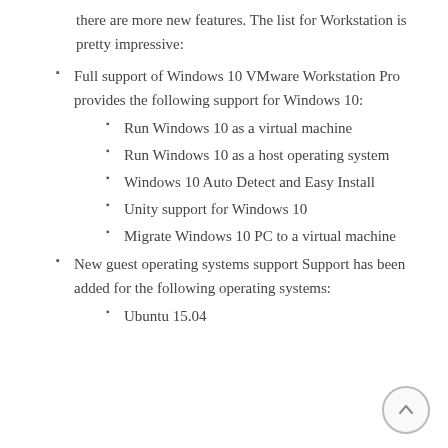there are more new features. The list for Workstation is pretty impressive:
Full support of Windows 10 VMware Workstation Pro provides the following support for Windows 10:
Run Windows 10 as a virtual machine
Run Windows 10 as a host operating system
Windows 10 Auto Detect and Easy Install
Unity support for Windows 10
Migrate Windows 10 PC to a virtual machine
New guest operating systems support Support has been added for the following operating systems:
Ubuntu 15.04